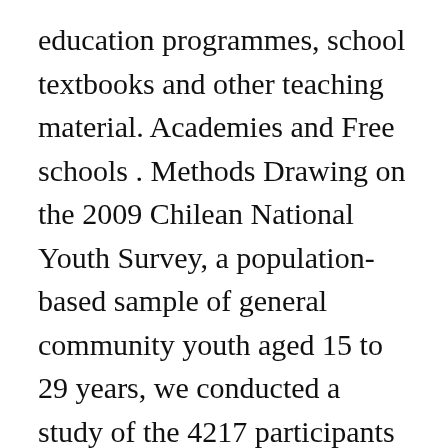education programmes, school textbooks and other teaching material. Academies and Free schools . Methods Drawing on the 2009 Chilean National Youth Survey, a population-based sample of general community youth aged 15 to 29 years, we conducted a study of the 4217 participants who ... Primary data is harder to obtain, but is tailored specifically to your study and therefore more important as a source ... As a Head of Department and a teacher of 11 years, marking was one thing I often dreaded most about my job until I recently adopted a new way of marking effectively that saves ... The general aims of primary education are: To enable the child to live a full life as a child and to realise his and